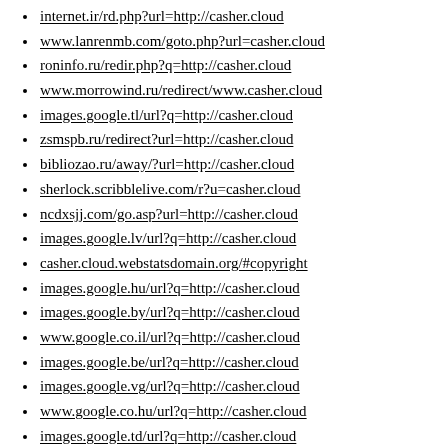internet.ir/rd.php?url=http://casher.cloud
www.lanrenmb.com/goto.php?url=casher.cloud
roninfo.ru/redir.php?q=http://casher.cloud
www.morrowind.ru/redirect/www.casher.cloud
images.google.tl/url?q=http://casher.cloud
zsmspb.ru/redirect?url=http://casher.cloud
bibliozao.ru/away/?url=http://casher.cloud
sherlock.scribblelive.com/r?u=casher.cloud
ncdxsjj.com/go.asp?url=http://casher.cloud
images.google.lv/url?q=http://casher.cloud
casher.cloud.webstatsdomain.org/#copyright
images.google.hu/url?q=http://casher.cloud
images.google.by/url?q=http://casher.cloud
www.google.co.il/url?q=http://casher.cloud
images.google.be/url?q=http://casher.cloud
images.google.vg/url?q=http://casher.cloud
www.google.co.hu/url?q=http://casher.cloud
images.google.td/url?q=http://casher.cloud
images.google.dm/url?q=http://casher.cloud